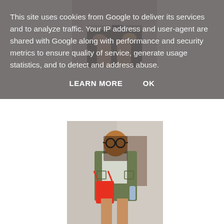[Figure (photo): Partial fashion photo showing a woman's lower body in a black skirt with hands visible, gold watch, white background area]
This site uses cookies from Google to deliver its services and to analyze traffic. Your IP address and user-agent are shared with Google along with performance and security metrics to ensure quality of service, generate usage statistics, and to detect and address abuse.
LEARN MORE    OK
[Figure (photo): Fashion photo of a young woman with ombre hair wearing round sunglasses, an olive/army green jacket, white t-shirt, and carrying a bright red/coral handbag, standing against a concrete wall]